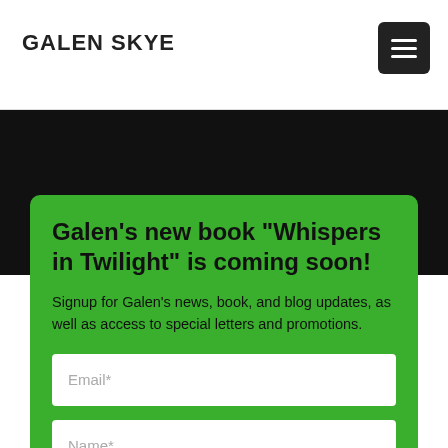GALEN SKYE
Galen's new book "Whispers in Twilight" is coming soon!
Signup for Galen's news, book, and blog updates, as well as access to special letters and promotions.